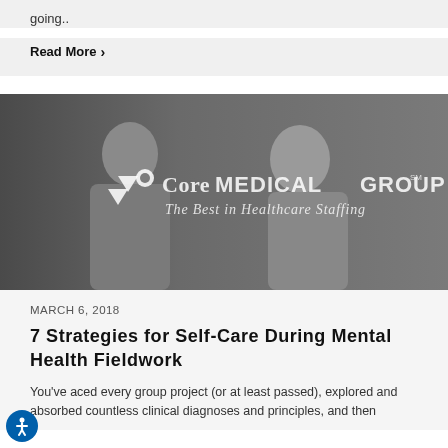going..
Read More ›
[Figure (photo): A female healthcare professional smiling at an elderly male patient, with Core Medical Group logo and tagline 'The Best in Healthcare Staffing' overlaid on the image.]
MARCH 6, 2018
7 Strategies for Self-Care During Mental Health Fieldwork
You've aced every group project (or at least passed), explored and absorbed countless clinical diagnoses and principles, and then